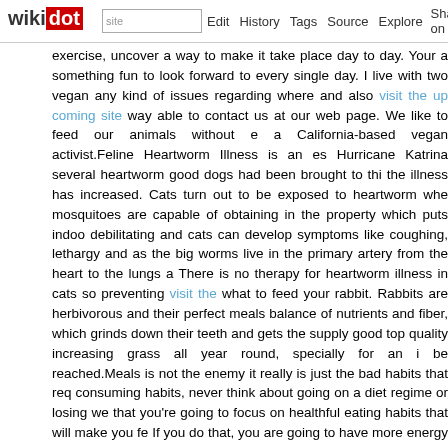wikidot | site | Edit | History | Tags | Source | Explore | Share on [Twitter]
exercise, uncover a way to make it take place day to day. Your a something fun to look forward to every single day. I live with two vegan any kind of issues regarding where and also visit the up coming site way able to contact us at our web page. We like to feed our animals without e a California-based vegan activist.Feline Heartworm Illness is an es Hurricane Katrina several heartworm good dogs had been brought to thi the illness has increased. Cats turn out to be exposed to heartworm whe mosquitoes are capable of obtaining in the property which puts indoo debilitating and cats can develop symptoms like coughing, lethargy and as the big worms live in the primary artery from the heart to the lungs a There is no therapy for heartworm illness in cats so preventing visit the what to feed your rabbit. Rabbits are herbivorous and their perfect meals balance of nutrients and fiber, which grinds down their teeth and gets the supply good top quality increasing grass all year round, specially for an i be reached.Meals is not the enemy it really is just the bad habits that req consuming habits, never think about going on a diet regime or losing we that you're going to focus on healthful eating habits that will make you fe If you do that, you are going to have more energy and chances are y handful of suggestions to get you began.We aid pet owners make cert pets by delivering an cost-effective and accessible pet healthcare m particularly crucial for puppies, modest dogs that have a higher ratio of s old or have chronic wellness troubles like heart illness, diabetes or art automobile on a warm day. If you see a dog in distress in a hot autom regularly, as well, either by running them by means of the dishwasher o make sure the sponge does not include any metal, then get the sponge e careful when you get rid of it, as it will be very hot.Food: reduced tem perform tougher to maintain its regular body temperature. If your dog o outdoors, then you will need to enhance the quantity of meals, specificall lot of fuel to burn.When spring arrives and the climate starts to warm